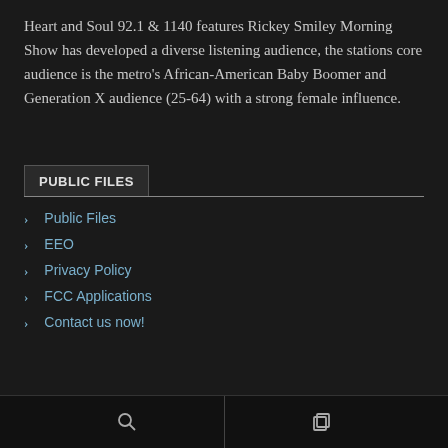Heart and Soul 92.1 & 1140 features Rickey Smiley Morning Show has developed a diverse listening audience, the stations core audience is the metro's African-American Baby Boomer and Generation X audience (25-64) with a strong female influence.
PUBLIC FILES
Public Files
EEO
Privacy Policy
FCC Applications
Contact us now!
search and copy icons